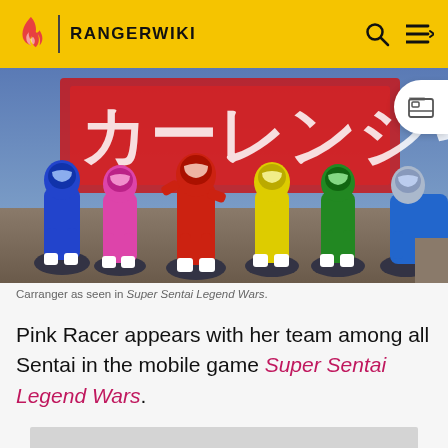RANGERWIKI
[Figure (screenshot): Carranger team (Blue, Pink, Red, Yellow, Green, Blue/Silver rangers) posed in front of a Japanese text backdrop, from Super Sentai Legend Wars mobile game.]
Carranger as seen in Super Sentai Legend Wars.
Pink Racer appears with her team among all Sentai in the mobile game Super Sentai Legend Wars.
[Figure (photo): Placeholder / partially visible second image (gray rectangle).]